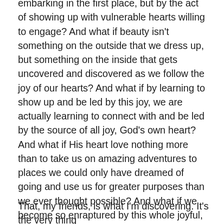embarking in the first place, but by the act of showing up with vulnerable hearts willing to engage? And what if beauty isn't something on the outside that we dress up, but something on the inside that gets uncovered and discovered as we follow the joy of our hearts? And what if by learning to show up and be led by this joy, we are actually learning to connect with and be led by the source of all joy, God's own heart? And what if His heart love nothing more than to take us on amazing adventures to places we could only have dreamed of going and use us for greater purposes than we ever thought possible? And what if we become so enraptured by this whole joyful, relational, consuming adventure that all our cares for appearances simply fall away?
That, my friends, is what I'm discovering. It's the very thing